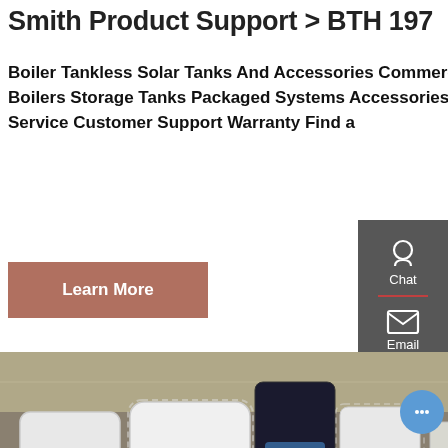Smith Product Support > BTH 197
Boiler Tankless Solar Tanks And Accessories Commercial Commercial Technology Selector Water Heaters Boilers Storage Tanks Packaged Systems Accessories Parts waterheaterparts.com Parts Cross Reference Service Customer Support Warranty Find a
[Figure (other): Learn More button - terracotta/brownish-red rectangular button with white text]
[Figure (photo): Industrial warehouse photo showing large white cylindrical water heater/boiler tanks, with a modern black and white unit in center foreground, industrial equipment in background]
Hey, we are live 24/7. How may I help you?